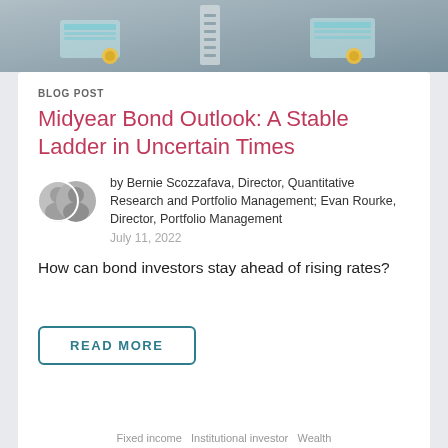[Figure (illustration): Decorative illustration showing financial/investment theme with money, coins and ladders on a grey background]
BLOG POST
Midyear Bond Outlook: A Stable Ladder in Uncertain Times
by Bernie Scozzafava, Director, Quantitative Research and Portfolio Management; Evan Rourke, Director, Portfolio Management
July 11, 2022
How can bond investors stay ahead of rising rates?
READ MORE
Fixed income  Institutional investor  Wealth